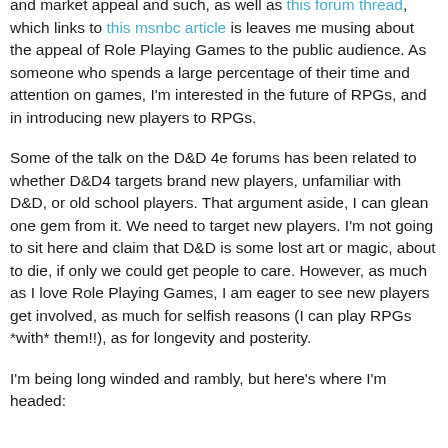So after having read this blog post, talking about RPG games and market appeal and such, as well as this forum thread, which links to this msnbc article is leaves me musing about the appeal of Role Playing Games to the public audience. As someone who spends a large percentage of their time and attention on games, I'm interested in the future of RPGs, and in introducing new players to RPGs.
Some of the talk on the D&D 4e forums has been related to whether D&D4 targets brand new players, unfamiliar with D&D, or old school players. That argument aside, I can glean one gem from it. We need to target new players. I'm not going to sit here and claim that D&D is some lost art or magic, about to die, if only we could get people to care. However, as much as I love Role Playing Games, I am eager to see new players get involved, as much for selfish reasons (I can play RPGs *with* them!!), as for longevity and posterity.
I'm being long winded and rambly, but here's where I'm headed: